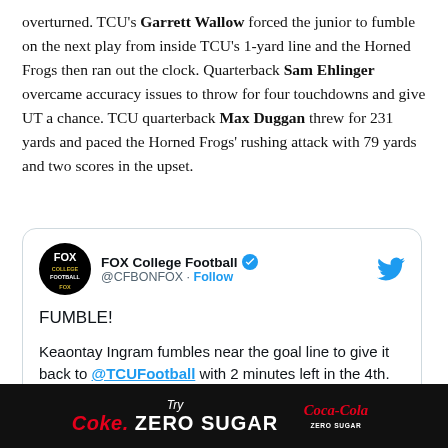overturned. TCU's Garrett Wallow forced the junior to fumble on the next play from inside TCU's 1-yard line and the Horned Frogs then ran out the clock. Quarterback Sam Ehlinger overcame accuracy issues to throw for four touchdowns and give UT a chance. TCU quarterback Max Duggan threw for 231 yards and paced the Horned Frogs' rushing attack with 79 yards and two scores in the upset.
[Figure (screenshot): Embedded tweet from FOX College Football (@CFBONFOX) with verified badge and Follow link. Tweet text: FUMBLE! Keaontay Ingram fumbles near the goal line to give it back to @TCUFootball with 2 minutes left in the 4th.]
[Figure (infographic): Black advertisement banner at bottom: Try Coke. ZERO SUGAR with Coca-Cola Zero Sugar logo]